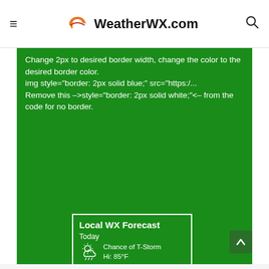WeatherWX.com
Change 2px to desired border width, change the color to the desired border color.
img style="border: 2px solid blue;" src="https:/...
Remove this –>style="border: 2px solid white;"<– from the code for no border.
[Figure (screenshot): WeatherWX.com local weather forecast widget showing: Today - Chance of T-Storm, Hi: 85°F; Tonight - Chance of T-Storm, Lo: 70°F; Wednesday - Chance of Showers, Hi: 81°F; Wednesday Night - Chance of Showers, Lo: 65°F. Footer: WeatherWX.com]